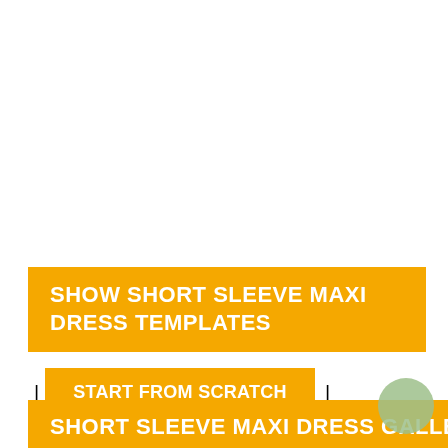SHOW SHORT SLEEVE MAXI DRESS TEMPLATES
START FROM SCRATCH
SHORT SLEEVE MAXI DRESS GALLERY